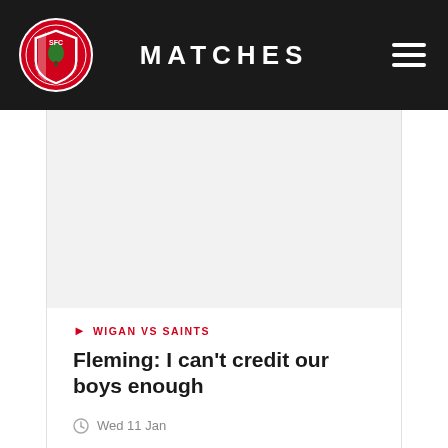MATCHES
WIGAN VS SAINTS
Fleming: I can't credit our boys enough
Wed 11 Jan